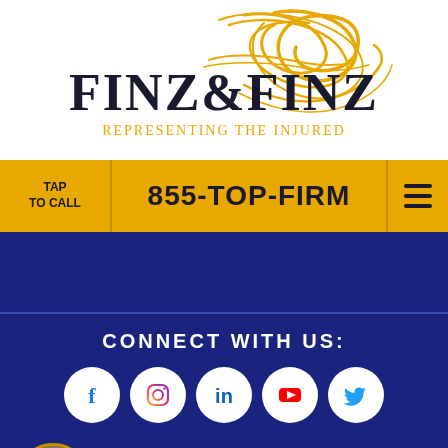[Figure (logo): Finz & Finz law firm logo with decorative gold script 'F' monogram above serif text reading FINZ & FINZ with tagline Representing The Injured]
TAP TO CALL
855-TOP-FIRM
[Figure (infographic): Hamburger menu icon (three horizontal bars)]
CONNECT WITH US:
[Figure (infographic): Row of social media icon circles: Facebook (f), Instagram (camera), LinkedIn (in), YouTube (play button), Twitter (bird)]
[Figure (photo): Circular avatar photo of a man wearing sunglasses]
LIVE CHAT
TEXT US